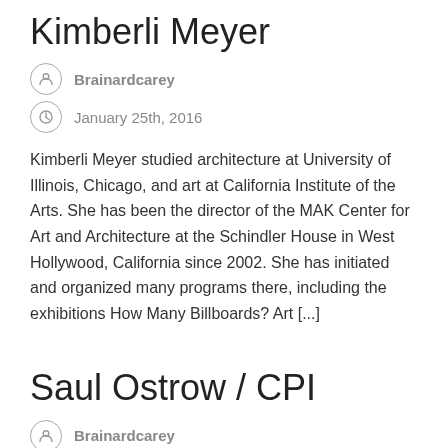Kimberli Meyer
Brainardcarey
January 25th, 2016
Kimberli Meyer studied architecture at University of Illinois, Chicago, and art at California Institute of the Arts. She has been the director of the MAK Center for Art and Architecture at the Schindler House in West Hollywood, California since 2002. She has initiated and organized many programs there, including the exhibitions How Many Billboards? Art [...]
Saul Ostrow / CPI
Brainardcarey
January 23rd, 2016